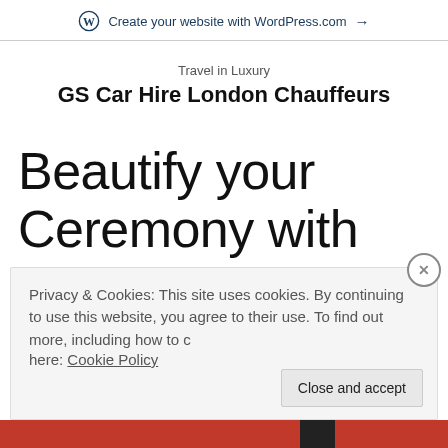Create your website with WordPress.com →
Travel in Luxury
GS Car Hire London Chauffeurs
Beautify your Ceremony with Wedding Chauffeur
Privacy & Cookies: This site uses cookies. By continuing to use this website, you agree to their use. To find out more, including how to control cookies, see here: Cookie Policy